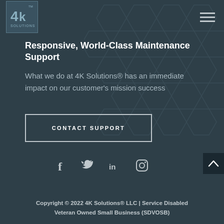[Figure (logo): 4K Solutions logo — a square box with '4k' in large text and 'SOLUTIONS' below, with a TM mark]
Responsive, World-Class Maintenance Support
What we do at 4K Solutions® has an immediate impact on our customer's mission success
CONTACT SUPPORT
[Figure (infographic): Social media icons row: Facebook (f), Twitter (bird), LinkedIn (in), Instagram (camera)]
Copyright © 2022 4K Solutions® LLC | Service Disabled Veteran Owned Small Business (SDVOSB)